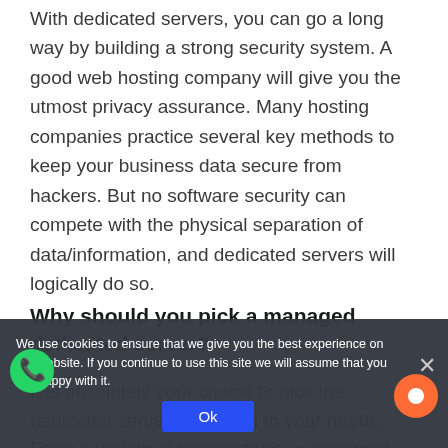With dedicated servers, you can go a long way by building a strong security system. A good web hosting company will give you the utmost privacy assurance. Many hosting companies practice several key methods to keep your business data secure from hackers. But no software security can compete with the physical separation of data/information, and dedicated servers will logically do so.
Why should you pick a managed dedicated server?
It is absolutely your choice to pick the dedicated server according to your needs. From a variety of perspectives, a managed dedicated server is the best choice for businesses.
We use cookies to ensure that we give you the best experience on our website. If you continue to use this site we will assume that you are happy with it.